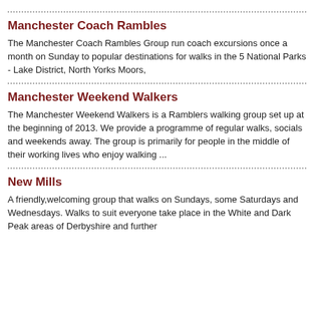Manchester Coach Rambles
The Manchester Coach Rambles Group run coach excursions once a month on Sunday to popular destinations for walks in the 5 National Parks - Lake District, North Yorks Moors,
Manchester Weekend Walkers
The Manchester Weekend Walkers is a Ramblers walking group set up at the beginning of 2013. We provide a programme of regular walks, socials and weekends away. The group is primarily for people in the middle of their working lives who enjoy walking ...
New Mills
A friendly,welcoming group that walks on Sundays, some Saturdays and Wednesdays. Walks to suit everyone take place in the White and Dark Peak areas of Derbyshire and further